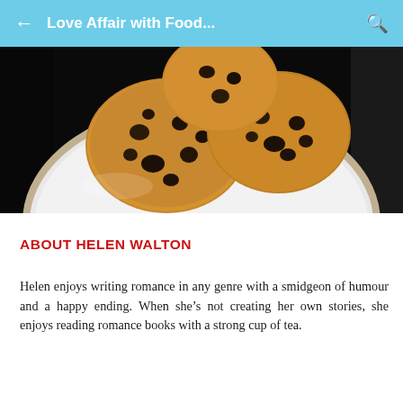Love Affair with Food...
[Figure (photo): Close-up photo of chocolate chip cookies on a white plate against a dark background.]
ABOUT HELEN WALTON
Helen enjoys writing romance in any genre with a smidgeon of humour and a happy ending. When she’s not creating her own stories, she enjoys reading romance books with a strong cup of tea.